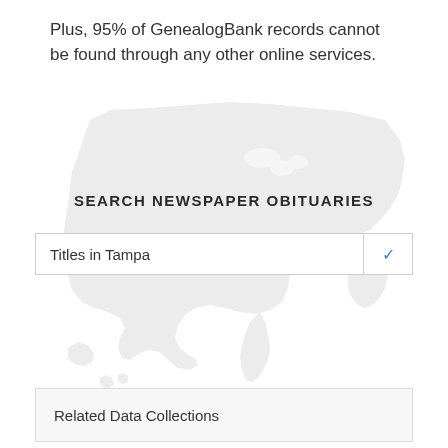Plus, 95% of GenealogBank records cannot be found through any other online services.
[Figure (map): Faded light gray outline map of the contiguous United States used as background graphic]
SEARCH NEWSPAPER OBITUARIES
Titles in Tampa
Related Data Collections